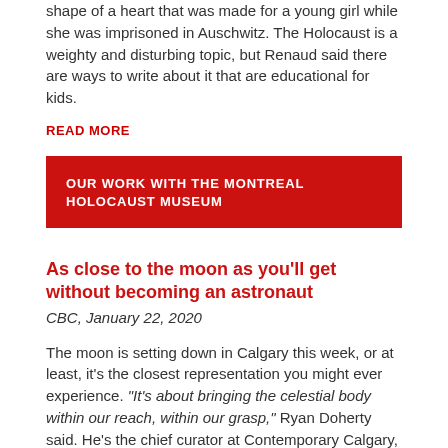shape of a heart that was made for a young girl while she was imprisoned in Auschwitz. The Holocaust is a weighty and disturbing topic, but Renaud said there are ways to write about it that are educational for kids.
READ MORE
OUR WORK WITH THE MONTREAL HOLOCAUST MUSEUM
As close to the moon as you'll get without becoming an astronaut
CBC, January 22, 2020
The moon is setting down in Calgary this week, or at least, it's the closest representation you might ever experience. "It's about bringing the celestial body within our reach, within our grasp," Ryan Doherty said. He's the chief curator at Contemporary Calgary, formerly the planetarium. Luke Jerram's Museum of the Moon is an inflatable installation, six metres in diameter. Its surface is a high resolution rendering of the actual moon, at a scale